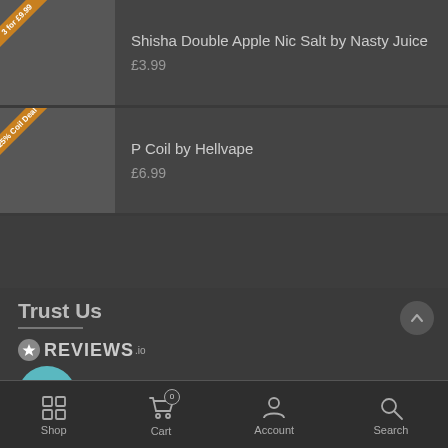[Figure (screenshot): Product listing item: Shisha Double Apple Nic Salt by Nasty Juice, £3.99, with orange diagonal badge '3 for £9.99']
Shisha Double Apple Nic Salt by Nasty Juice
£3.99
[Figure (screenshot): Product listing item: P Coil by Hellvape, £6.99, with orange diagonal badge '25% Coil Deal']
P Coil by Hellvape
£6.99
Trust Us
[Figure (logo): REVIEWS.io logo with star icon and 'Trusted Site' badge in teal circle]
Shop  Cart 0  Account  Search